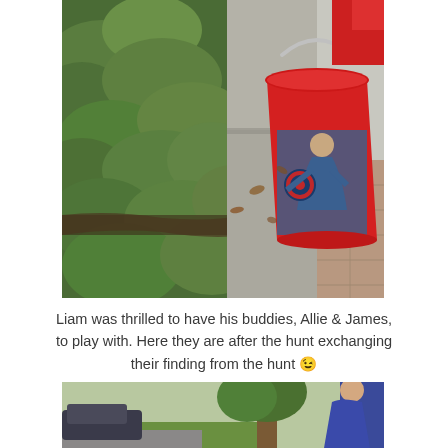[Figure (photo): Outdoor photo showing green bushes/shrubs on the left, stone steps in the middle, and a red Captain America themed plastic bucket sitting on the steps. A person in red clothing is partially visible in the upper right.]
Liam was thrilled to have his buddies, Allie & James, to play with. Here they are after the hunt exchanging their finding from the hunt 😉
[Figure (photo): Bottom photo partially visible showing an outdoor scene with a tree and a person in a blue dress visible on the right side.]